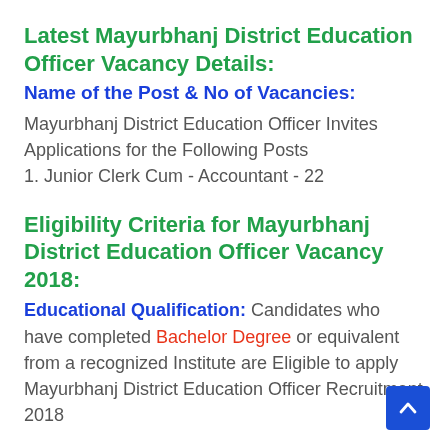Latest Mayurbhanj District Education Officer Vacancy Details:
Name of the Post & No of Vacancies:
Mayurbhanj District Education Officer Invites Applications for the Following Posts
1. Junior Clerk Cum - Accountant - 22
Eligibility Criteria for Mayurbhanj District Education Officer Vacancy 2018:
Educational Qualification: Candidates who have completed Bachelor Degree or equivalent from a recognized Institute are Eligible to apply Mayurbhanj District Education Officer Recruitment 2018